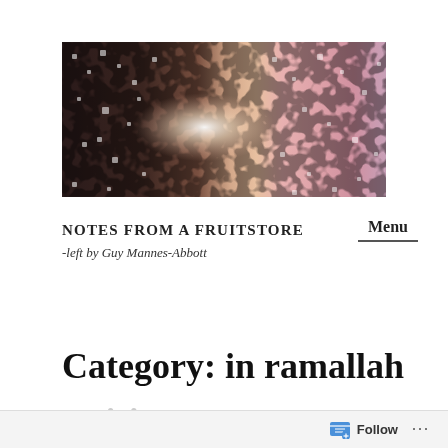[Figure (illustration): Horizontal banner image with mosaic/honeycomb texture pattern. Left portion is dark brown/black, center transitions through warm beige with a bright white glow in the center-left, right portion transitions to pink and light lavender tones. White dot highlights scattered throughout.]
NOTES FROM A FRUITSTORE
-left by Guy Mannes-Abbott
Menu
Category: in ramallah
Follow